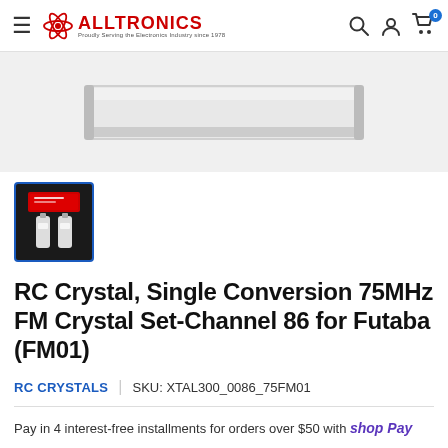ALLTRONICS — Proudly Serving the Electronics Industry since 1978
[Figure (photo): Product main image showing a metallic/silver elongated component on light background]
[Figure (photo): Thumbnail image of RC Crystal set in black packaging with two white crystal components]
RC Crystal, Single Conversion 75MHz FM Crystal Set-Channel 86 for Futaba (FM01)
RC CRYSTALS  |  SKU: XTAL300_0086_75FM01
Pay in 4 interest-free installments for orders over $50 with shop Pay